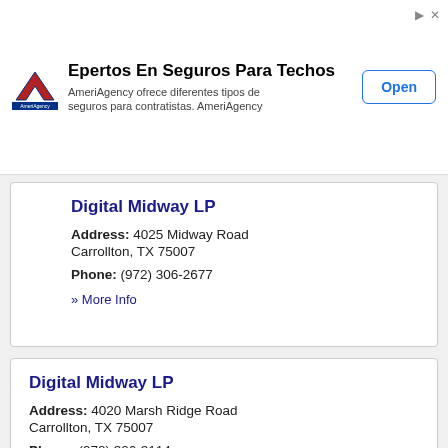[Figure (infographic): Advertisement banner for AmeriAgency. Shows logo, headline 'Epertos En Seguros Para Techos', subtext 'AmeriAgency ofrece diferentes tipos de seguros para contratistas. AmeriAgency', and an Open button.]
Digital Midway LP
Address: 4025 Midway Road
Carrollton, TX 75007
Phone: (972) 306-2677
» More Info
Digital Midway LP
Address: 4020 Marsh Ridge Road
Carrollton, TX 75007
Phone: (972) 306-3114
» More Info